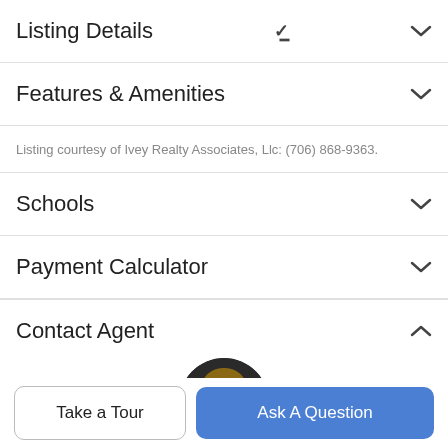Listing Details
Features & Amenities
Listing courtesy of Ivey Realty Associates, Llc: (706) 868-9363.
Schools
Payment Calculator
Contact Agent
[Figure (photo): Circular profile photo of a female real estate agent with blonde hair, smiling, on a dark background.]
Take a Tour
Ask A Question